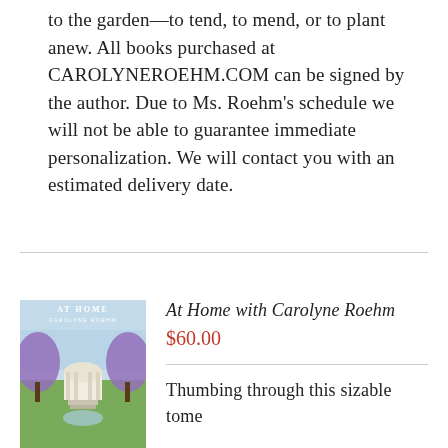to the garden—to tend, to mend, or to plant anew. All books purchased at CAROLYNEROEHM.COM can be signed by the author. Due to Ms. Roehm's schedule we will not be able to guarantee immediate personalization. We will contact you with an estimated delivery date.
[Figure (photo): Book cover of 'At Home with Carolyne Roehm' showing a garden scene with a classical gazebo surrounded by purple flowering trees]
At Home with Carolyne Roehm
$60.00
Thumbing through this sizable tome